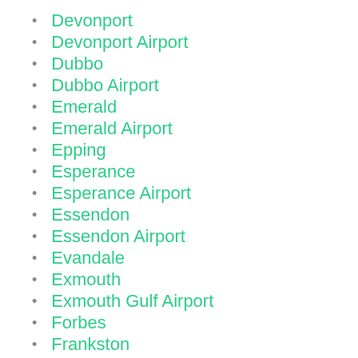Devonport
Devonport Airport
Dubbo
Dubbo Airport
Emerald
Emerald Airport
Epping
Esperance
Esperance Airport
Essendon
Essendon Airport
Evandale
Exmouth
Exmouth Gulf Airport
Forbes
Frankston
Fremantle